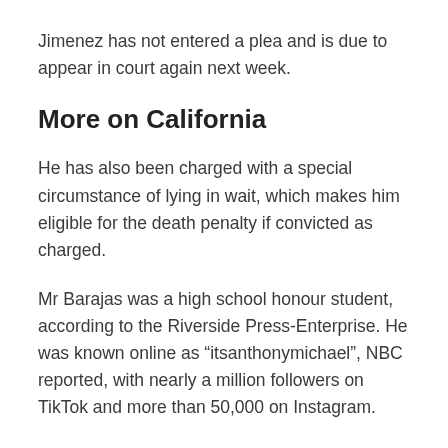Jimenez has not entered a plea and is due to appear in court again next week.
More on California
He has also been charged with a special circumstance of lying in wait, which makes him eligible for the death penalty if convicted as charged.
Mr Barajas was a high school honour student, according to the Riverside Press-Enterprise. He was known online as “itsanthonymichael”, NBC reported, with nearly a million followers on TikTok and more than 50,000 on Instagram.
“From his quick smile to his compassionate heart, Anthony’s presence was a gift to all who knew him,” his family said in a statement, praising his tribute...